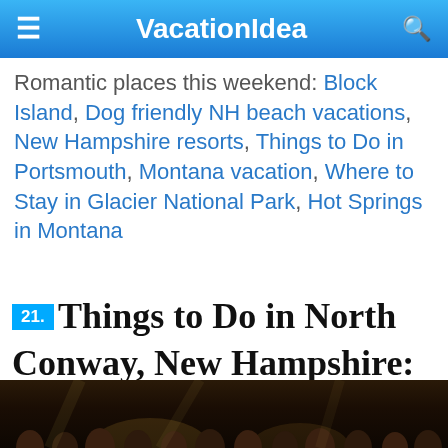VacationIdea
Romantic places this weekend: Block Island, Dog friendly NH beach vacations, New Hampshire resorts, Things to Do in Portsmouth, Montana vacation, Where to Stay in Glacier National Park, Hot Springs in Montana
21. Things to Do in North Conway, New Hampshire: M&D at Eastern Slope Inn Playhouse
[Figure (photo): Dark theater crowd scene viewed from behind, stage lighting visible]